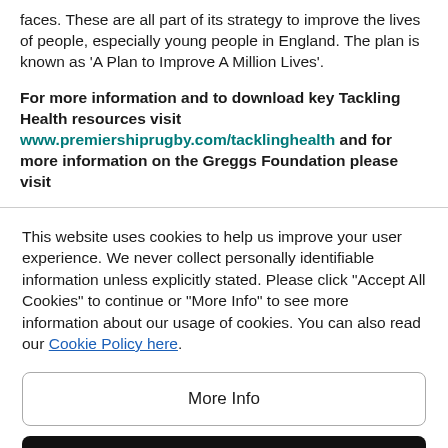faces. These are all part of its strategy to improve the lives of people, especially young people in England. The plan is known as 'A Plan to Improve A Million Lives'.
For more information and to download key Tackling Health resources visit www.premiershiprugby.com/tacklinghealth and for more information on the Greggs Foundation please visit
This website uses cookies to help us improve your user experience. We never collect personally identifiable information unless explicitly stated. Please click "Accept All Cookies" to continue or "More Info" to see more information about our usage of cookies. You can also read our Cookie Policy here.
More Info
Accept All Cookies